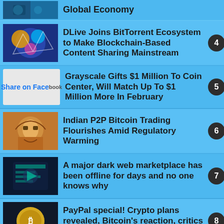(partial top item - truncated)
4. DLive Joins BitTorrent Ecosystem to Make Blockchain-Based Content Sharing Mainstream
5. Grayscale Gifts $1 Million To Coin Center, Will Match Up To $1 Million More In February
6. Indian P2P Bitcoin Trading Flourishes Amid Regulatory Warming
7. A major dark web marketplace has been offline for days and no one knows why
8. PayPal special! Crypto plans revealed, Bitcoin’s reaction, critics circle: Hodler’s Digest, Oct. 19–25
9. Grayscale’s Bitcoin premium has dropped to record lows below zero